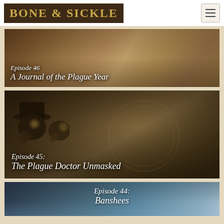BONE & SICKLE
[Figure (illustration): Episode 46: A Journal of the Plague Year — decorative dark painting-style banner image with Episode 46 title overlaid]
[Figure (illustration): Episode 45: The Plague Doctor Unmasked — dark image featuring plague doctor masks with Episode 45 title overlaid]
[Figure (illustration): Episode 44: Banshees — blue-grey atmospheric banner image with Episode 44 title overlaid, partially visible]